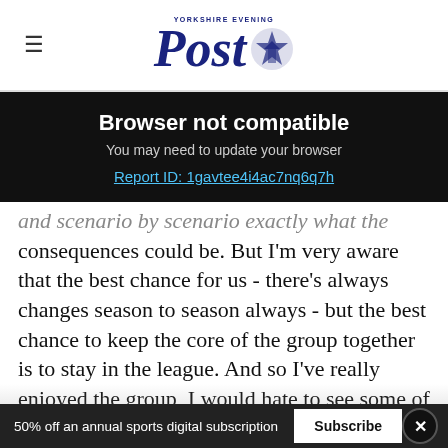Yorkshire Evening Post — newspaper logo header
Browser not compatible
You may need to update your browser
Report ID: 1gavtee4i4ac7nq6q7h
and scenario by scenario exactly what the consequences could be. But I'm very aware that the best chance for us - there's always changes season to season always - but the best chance to keep the core of the group together is to stay in the league. And so I've really enjoyed the group, I would hate to see some of the guys go
50% off an annual sports digital subscription
Subscribe